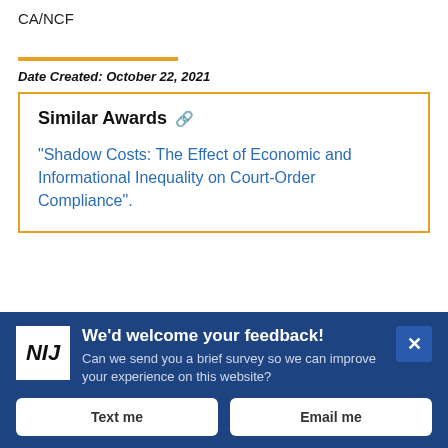CA/NCF
Date Created: October 22, 2021
Similar Awards
"Shadow Costs: The Effect of Economic and Informational Inequality on Court-Order Compliance".
We'd welcome your feedback! Can we send you a brief survey so we can improve your experience on this website?
Text me
Email me